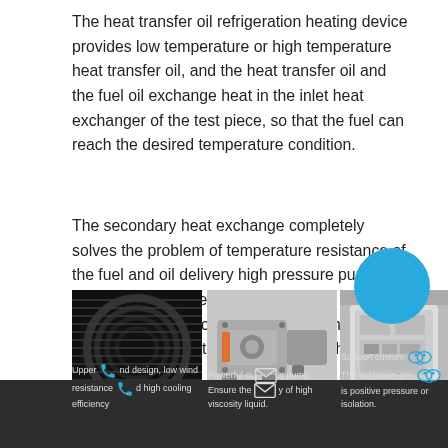The heat transfer oil refrigeration heating device provides low temperature or high temperature heat transfer oil, and the heat transfer oil and the fuel oil exchange heat in the inlet heat exchanger of the test piece, so that the fuel can reach the desired temperature condition.
The secondary heat exchange completely solves the problem of temperature resistance of the fuel and oil delivery high pressure pump, and also solves the problem of fuel carbonization and coking caused by the excessive surface temperature of the heater.
[Figure (photo): Three product photos side by side: a fan/coil unit, a pump motor, and an electrical control unit]
Upper wind design, low wind resistance and high cooling efficiency
Powerful circulation pump. Ensure the delivery of high viscosity liquid.
Support customization. The explosion-proof is positive pressure or isolation.